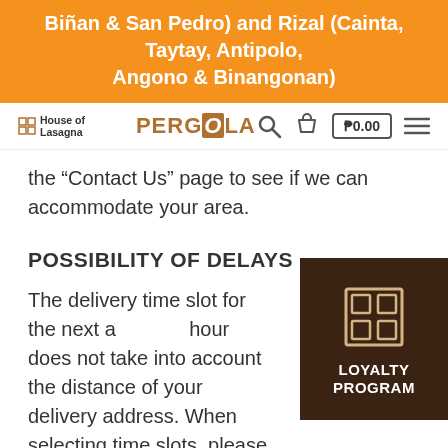Biñan & San Pedro) and Rizal (Cainta, Taytay, Antipolo, Angono & Binangonan)
[Figure (logo): House of Lasagna and PERGOLA logos in the navigation bar]
the “Contact Us” page to see if we can accommodate your area.
POSSIBILITY OF DELAYS
The delivery time slot for the next available hour does not take into account the distance of your delivery address. When selecting time slots, please note that peak hours, rainy
[Figure (logo): Loyalty Program widget with window icon and text LOYALTY PROGRAM on dark brown background]